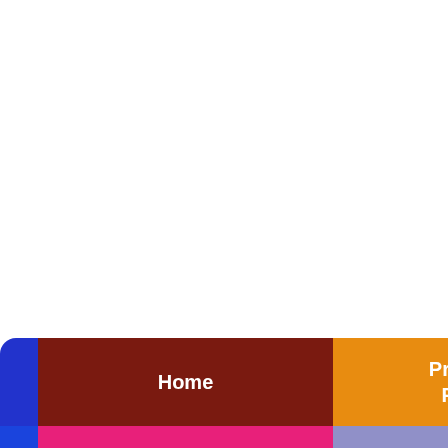[Figure (screenshot): Navigation bar at the bottom of a mobile app UI with three colored sections: dark red 'Home', orange 'Profile and Resume', and purple 'Browse Jobs', with a blue left edge and colored bottom strip.]